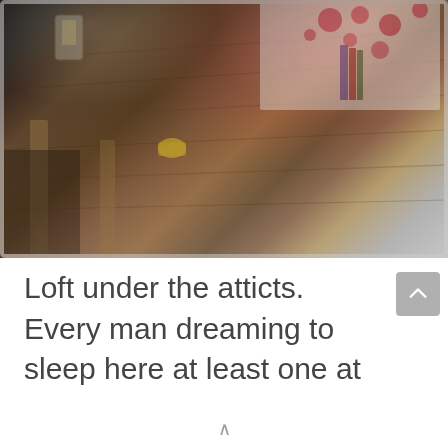[Figure (photo): Overhead/angled view of a loft bedroom under the attic rafters. Visible are wooden plank flooring, a bed with a floral white and pink bedspread, a lantern, books, and various small items scattered around. The photo is displayed on what appears to be a tablet or smartphone screen shown at an angle.]
Loft under the atticts. Every man dreaming to sleep here at least one at